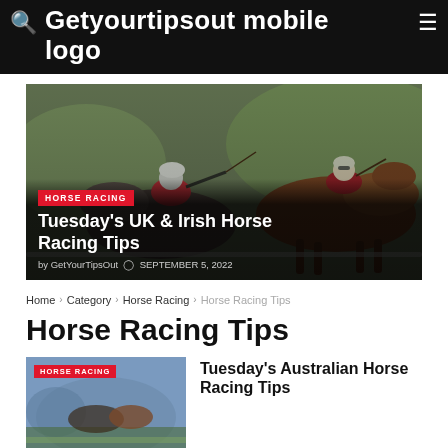Getyourtipsout mobile logo
[Figure (photo): Two jockeys on racehorses competing in a horse race, close-up action shot]
HORSE RACING
Tuesday's UK & Irish Horse Racing Tips
by GetYourTipsOut  SEPTEMBER 5, 2022
Home > Category > Horse Racing > Horse Racing Tips
Horse Racing Tips
[Figure (photo): Horse racing thumbnail image with HORSE RACING badge]
HORSE RACING
Tuesday's Australian Horse Racing Tips